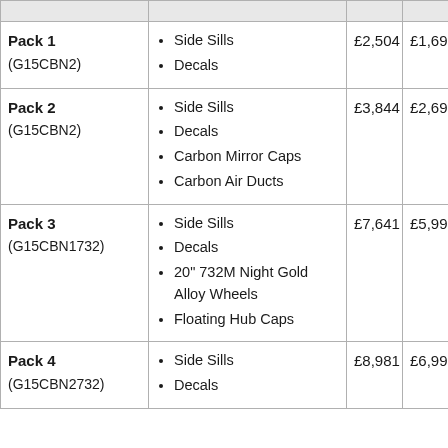| Pack | Items | Price (RRP) | Price (Sale) |
| --- | --- | --- | --- |
| Pack 1 (G15CBN2) | Side Sills, Decals | £2,504 | £1,695 |
| Pack 2 (G15CBN2) | Side Sills, Decals, Carbon Mirror Caps, Carbon Air Ducts | £3,844 | £2,695 |
| Pack 3 (G15CBN1732) | Side Sills, Decals, 20" 732M Night Gold Alloy Wheels, Floating Hub Caps | £7,641 | £5,995 |
| Pack 4 (G15CBN2732) | Side Sills, Decals | £8,981 | £6,995 |